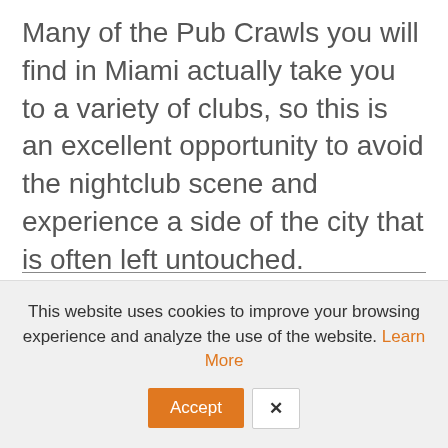Many of the Pub Crawls you will find in Miami actually take you to a variety of clubs, so this is an excellent opportunity to avoid the nightclub scene and experience a side of the city that is often left untouched.
Pub Crawl Miami
This website uses cookies to improve your browsing experience and analyze the use of the website. Learn More